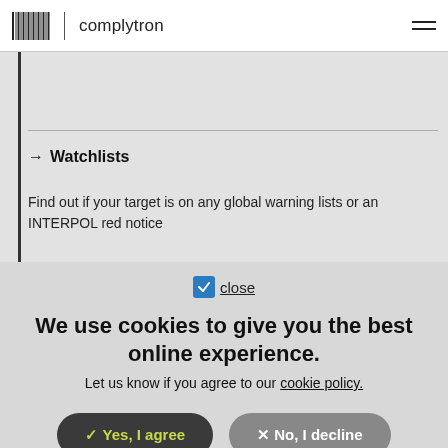complytron
→ Watchlists
Find out if your target is on any global warning lists or an INTERPOL red notice
close
We use cookies to give you the best online experience. Let us know if you agree to our cookie policy.
✓ Yes, I agree
✕ No, I decline